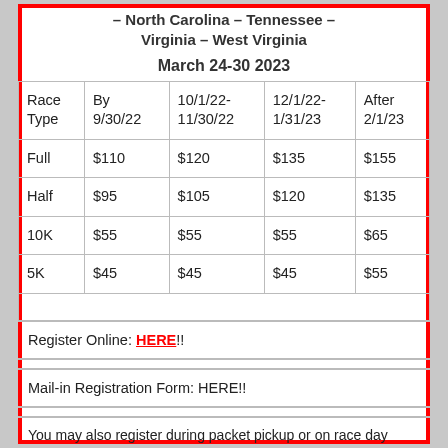– North Carolina – Tennessee – Virginia – West Virginia
March 24-30 2023
| Race Type | By 9/30/22 | 10/1/22-11/30/22 | 12/1/22-1/31/23 | After 2/1/23 |
| --- | --- | --- | --- | --- |
| Full | $110 | $120 | $135 | $155 |
| Half | $95 | $105 | $120 | $135 |
| 10K | $55 | $55 | $55 | $65 |
| 5K | $45 | $45 | $45 | $55 |
Register Online: HERE!!
Mail-in Registration Form: HERE!!
You may also register during packet pickup or on race day (cash/check/credit card/PayPal). Entry fees are non-refundable